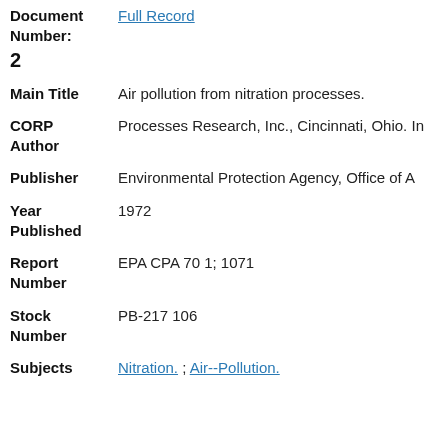Document Number: Full Record
2
Main Title: Air pollution from nitration processes.
CORP Author: Processes Research, Inc., Cincinnati, Ohio. In
Publisher: Environmental Protection Agency, Office of A
Year Published: 1972
Report Number: EPA CPA 70 1; 1071
Stock Number: PB-217 106
Subjects: Nitration. ; Air--Pollution.